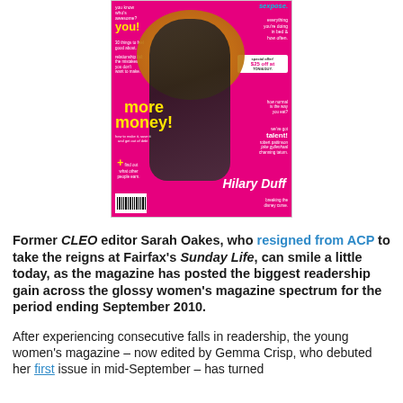[Figure (photo): Magazine cover of CLEO featuring Hilary Duff on a hot pink background. Cover lines include 'you know who's awesome? you!', 'more money!', 'sexpose.', 'special offer! $25 off at TONI&GUY', 'we've got talent! robert pattinson, jake gyllenhaal, channing tatum.', 'breaking the disney curse.' Hilary Duff's name is written in script at the bottom.]
Former CLEO editor Sarah Oakes, who resigned from ACP to take the reigns at Fairfax's Sunday Life, can smile a little today, as the magazine has posted the biggest readership gain across the glossy women's magazine spectrum for the period ending September 2010.
After experiencing consecutive falls in readership, the young women's magazine – now edited by Gemma Crisp, who debuted her first issue in mid-September – has turned